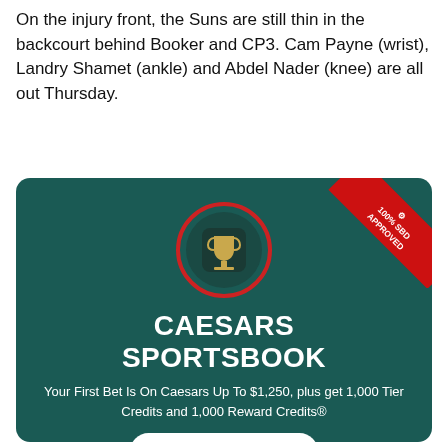On the injury front, the Suns are still thin in the backcourt behind Booker and CP3. Cam Payne (wrist), Landry Shamet (ankle) and Abdel Nader (knee) are all out Thursday.
[Figure (illustration): Caesars Sportsbook advertisement card on dark teal background. Features a trophy icon in a circle, bold text 'CAESARS SPORTSBOOK', offer text 'Your First Bet Is On Caesars Up To $1,250, plus get 1,000 Tier Credits and 1,000 Reward Credits®', a 'LOCK IN' button, and a red '100% SBD APPROVED' ribbon in the top-right corner.]